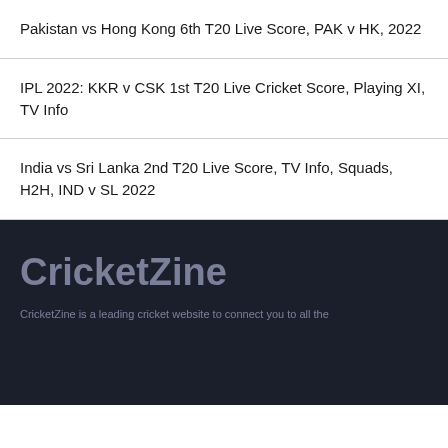Pakistan vs Hong Kong 6th T20 Live Score, PAK v HK, 2022
IPL 2022: KKR v CSK 1st T20 Live Cricket Score, Playing XI, TV Info
India vs Sri Lanka 2nd T20 Live Score, TV Info, Squads, H2H, IND v SL 2022
CricketZine
CricketZine is a leading cricket website to connect you to all the